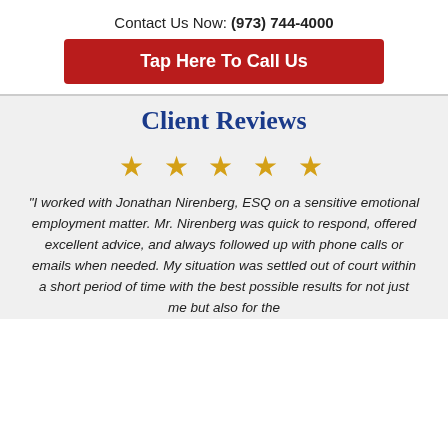Contact Us Now: (973) 744-4000
Tap Here To Call Us
Client Reviews
★ ★ ★ ★ ★
"I worked with Jonathan Nirenberg, ESQ on a sensitive emotional employment matter. Mr. Nirenberg was quick to respond, offered excellent advice, and always followed up with phone calls or emails when needed. My situation was settled out of court within a short period of time with the best possible results for not just me but also for the